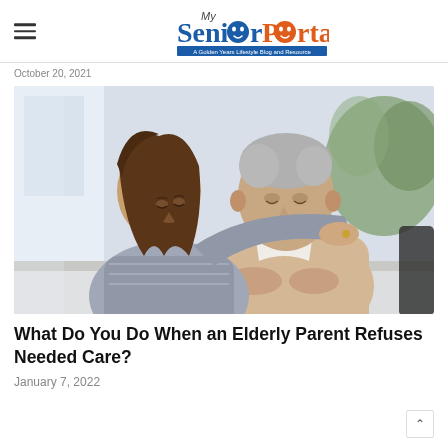My SeniorPortal — A Golden Years Lifestyle Blog and Resource
October 20, 2021
[Figure (photo): A younger woman leaning over an elderly man seated at a table, placing her arm around his shoulders and holding his hand in a caring gesture. The man looks downward with a solemn expression. Both are photographed in a bright indoor setting.]
What Do You Do When an Elderly Parent Refuses Needed Care?
January 7, 2022